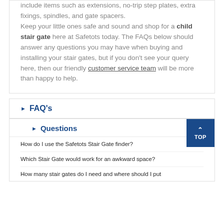include items such as extensions, no-trip step plates, extra fixings, spindles, and gate spacers. Keep your little ones safe and sound and shop for a child stair gate here at Safetots today. The FAQs below should answer any questions you may have when buying and installing your stair gates, but if you don't see your query here, then our friendly customer service team will be more than happy to help.
FAQ's
Questions
How do I use the Safetots Stair Gate finder?
Which Stair Gate would work for an awkward space?
How many stair gates do I need and where should I put